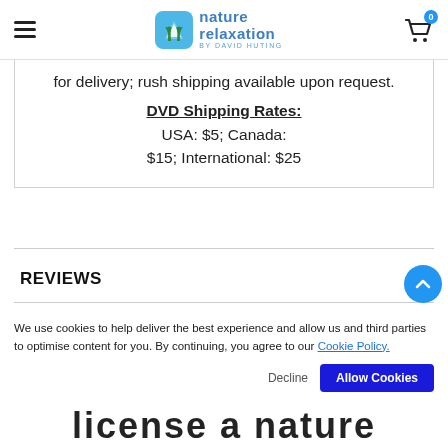nature relaxation by David Huting — navigation header with logo and cart
for delivery; rush shipping available upon request.
DVD Shipping Rates: USA: $5; Canada: $15; International: $25
REVIEWS
We use cookies to help deliver the best experience and allow us and third parties to optimise content for you. By continuing, you agree to our Cookie Policy.
license a nature